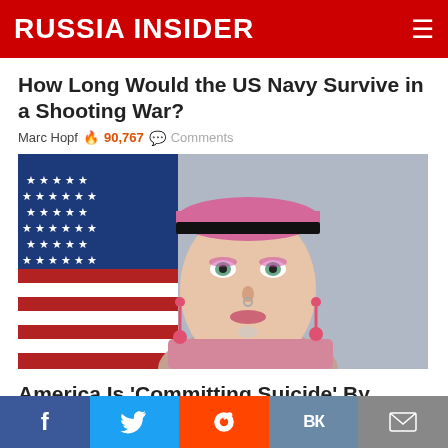RUSSIA INSIDER
How Long Would the US Navy Survive in a Shooting War?
Marc Hopf 🔥 90,767 💬 Comments
[Figure (photo): Person wearing pink beret and pink camouflage uniform with makeup and earrings, posed in front of an American flag]
America Is 'Committing Suicide' By Allowing Trannies in the Military (Russian TV News)
[Figure (infographic): Social share bar with Facebook, Twitter, Reddit, VK, and email buttons]